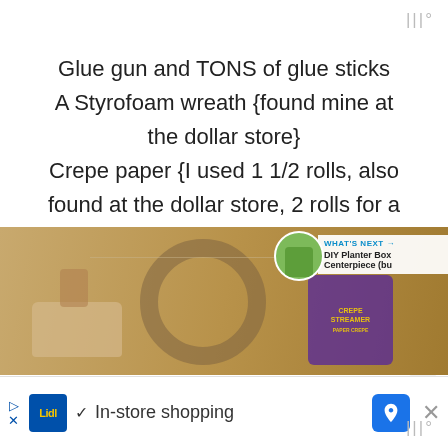|||°
Glue gun and TONS of glue sticks
A Styrofoam wreath {found mine at the dollar store}
Crepe paper {I used 1 1/2 rolls, also found at the dollar store, 2 rolls for a dollar. Score!}
[Figure (photo): Photo of craft supplies on a brown surface including a glue gun, styrofoam wreath, and a package of crepe paper streamers. A 'What's Next' overlay shows a preview of 'DIY Planter Box Centerpiece' with a small potted plant thumbnail.]
In-store shopping
|||°